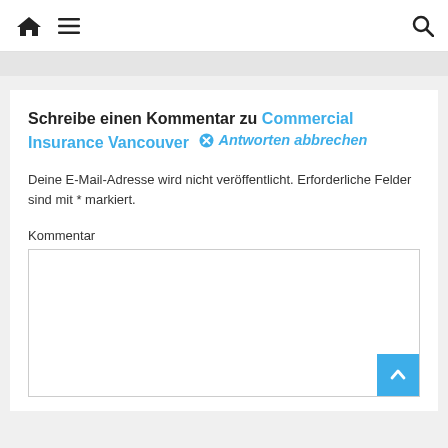🏠 ☰ 🔍
Schreibe einen Kommentar zu Commercial Insurance Vancouver  ✖ Antworten abbrechen
Deine E-Mail-Adresse wird nicht veröffentlicht. Erforderliche Felder sind mit * markiert.
Kommentar